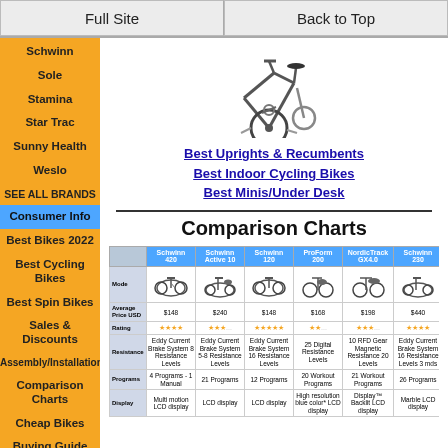Full Site | Back to Top
Schwinn
Sole
Stamina
Star Trac
Sunny Health
Weslo
SEE ALL BRANDS
Consumer Info
Best Bikes 2022
Best Cycling Bikes
Best Spin Bikes
Sales & Discounts
Assembly/Installation
Comparison Charts
Cheap Bikes
Buying Guide
[Figure (photo): Upright exercise bike product photo]
Best Uprights & Recumbents
Best Indoor Cycling Bikes
Best Minis/Under Desk
Comparison Charts
|  | Schwinn 420 | Schwinn Active 10 | Schwinn 120 | ProForm 200 | NordicTrack GX4.0 | Schwinn 230 |
| --- | --- | --- | --- | --- | --- | --- |
| Model | (bike image) | (bike image) | (bike image) | (bike image) | (bike image) | (bike image) |
| Average Price USD | $148 | $240 | $148 | $168 | $198 | $440 |
| Rating | ★★★★ | ★★★... | ★★★★★ | ★★... | ★★★... | ★★★★ |
| Resistance | Eddy Current Brake System 8 Resistance Levels | Eddy Current Brake System 5-8 Resistance Levels | Eddy Current Brake System 16 Resistance Levels | 25 Digital Resistance Levels | 10 RFD Gear Magnetic Resistance 20 Levels | Eddy Current Brake System 16 Resistance Levels 3 mds |
| Programs | 4 Programs - 1 Manual | 21 Programs | 12 Programs | 20 Workout Programs | 21 Workout Programs | 26 Programs |
| Display | Multi motion LCD display | LCD display | LCD display | High resolution blue color* LCD display | Display™ Backlit LCD display | Marble LCD display |